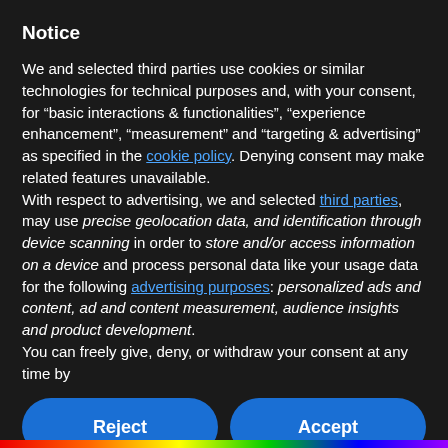Notice
We and selected third parties use cookies or similar technologies for technical purposes and, with your consent, for “basic interactions & functionalities”, “experience enhancement”, “measurement” and “targeting & advertising” as specified in the cookie policy. Denying consent may make related features unavailable.
With respect to advertising, we and selected third parties, may use precise geolocation data, and identification through device scanning in order to store and/or access information on a device and process personal data like your usage data for the following advertising purposes: personalized ads and content, ad and content measurement, audience insights and product development.
You can freely give, deny, or withdraw your consent at any time by
Reject
Accept
Learn more and customize